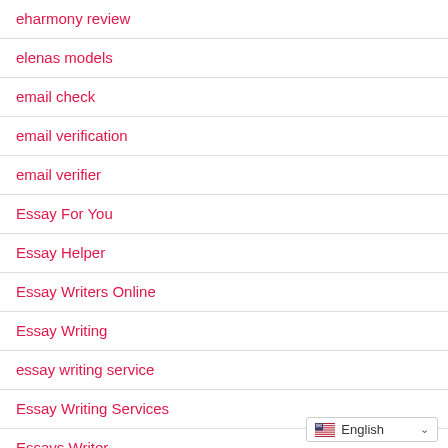eharmony review
elenas models
email check
email verification
email verifier
Essay For You
Essay Helper
Essay Writers Online
Essay Writing
essay writing service
Essay Writing Services
Essays Writer